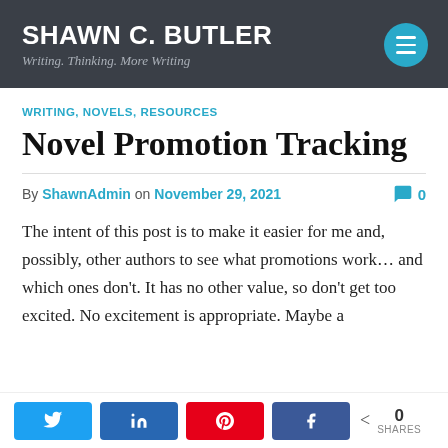SHAWN C. BUTLER — Writing. Thinking. More Writing
WRITING, NOVELS, RESOURCES
Novel Promotion Tracking
By ShawnAdmin on November 29, 2021   💬 0
The intent of this post is to make it easier for me and, possibly, other authors to see what promotions work… and which ones don't. It has no other value, so don't get too excited. No excitement is appropriate. Maybe a
Share buttons: Twitter, LinkedIn, Pinterest, Facebook — 0 SHARES